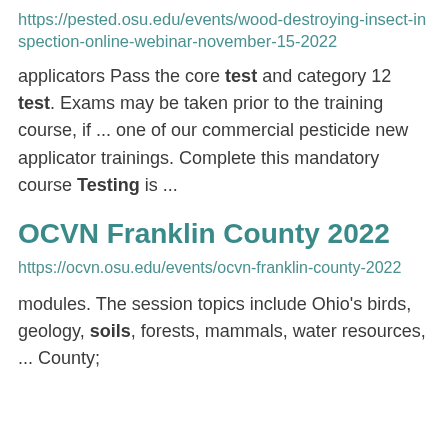https://pested.osu.edu/events/wood-destroying-insect-inspection-online-webinar-november-15-2022
applicators Pass the core test and category 12 test. Exams may be taken prior to the training course, if ... one of our commercial pesticide new applicator trainings. Complete this mandatory course Testing is ...
OCVN Franklin County 2022
https://ocvn.osu.edu/events/ocvn-franklin-county-2022
modules. The session topics include Ohio's birds, geology, soils, forests, mammals, water resources, ... County;